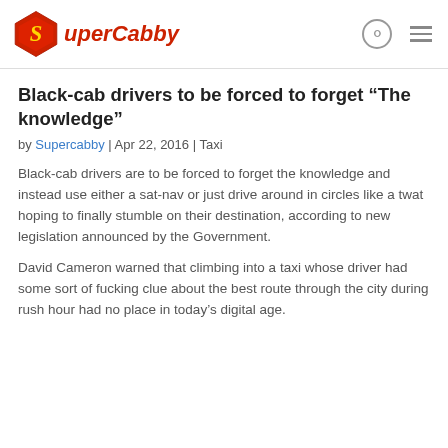SuperCabby
Black-cab drivers to be forced to forget “The knowledge”
by Supercabby | Apr 22, 2016 | Taxi
Black-cab drivers are to be forced to forget the knowledge and instead use either a sat-nav or just drive around in circles like a twat hoping to finally stumble on their destination, according to new legislation announced by the Government.
David Cameron warned that climbing into a taxi whose driver had some sort of fucking clue about the best route through the city during rush hour had no place in today’s digital age.